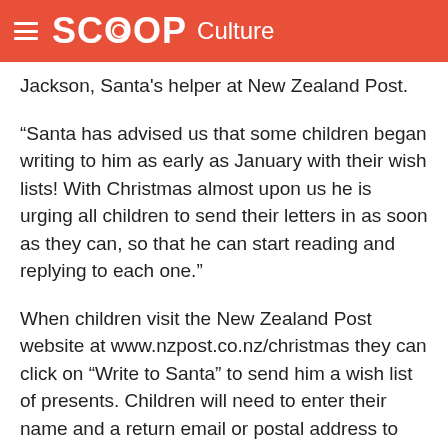SCOOP Culture
Jackson, Santa's helper at New Zealand Post.
“Santa has advised us that some children began writing to him as early as January with their wish lists! With Christmas almost upon us he is urging all children to send their letters in as soon as they can, so that he can start reading and replying to each one.”
When children visit the New Zealand Post website at www.nzpost.co.nz/christmas they can click on “Write to Santa” to send him a wish list of presents. Children will need to enter their name and a return email or postal address to get a reply from Santa either by email or by letter.